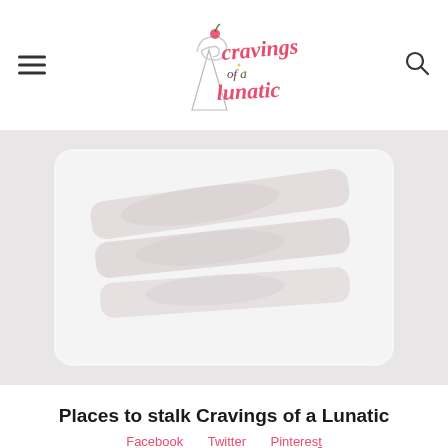Cravings of a Lunatic
[Figure (photo): Food photo showing BBQ ribs on a white rectangular plate against a light gray background, washed out/high-key lighting]
Places to stalk Cravings of a Lunatic
Facebook   Twitter   Pinterest